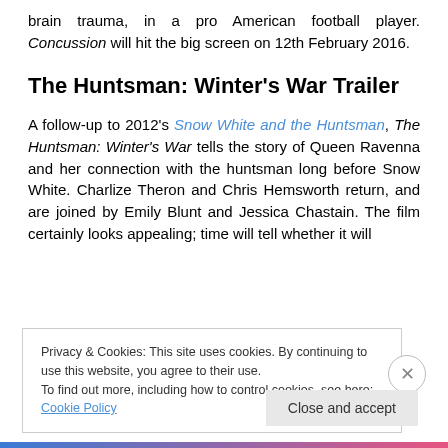brain trauma, in a pro American football player. Concussion will hit the big screen on 12th February 2016.
The Huntsman: Winter's War Trailer
A follow-up to 2012's Snow White and the Huntsman, The Huntsman: Winter's War tells the story of Queen Ravenna and her connection with the huntsman long before Snow White. Charlize Theron and Chris Hemsworth return, and are joined by Emily Blunt and Jessica Chastain. The film certainly looks appealing; time will tell whether it will
Privacy & Cookies: This site uses cookies. By continuing to use this website, you agree to their use.
To find out more, including how to control cookies, see here: Cookie Policy
Close and accept